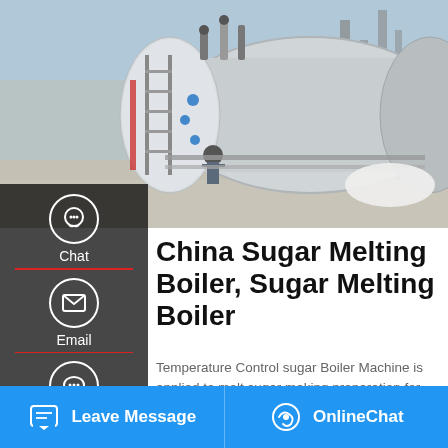[Figure (photo): Outdoor industrial boiler installation site. A large silver cylindrical boiler is being installed, with pipes, ladders, scaffolding and workers visible. Tall chimneys in background under blue sky.]
[Figure (screenshot): Left sidebar overlay with dark background showing Chat icon (headset), Email icon (envelope), and Contact icon (speech bubble with dots), each with red divider lines and white labels.]
China Sugar Melting Boiler, Sugar Melting Boiler
Temperature Control sugar Boiler Machine is applied to melt sugar making preparation for further usage. It's made of food stainless steel, high …
[Figure (screenshot): Scroll-to-top button: light grey rounded box with upward arrow icon.]
[Figure (screenshot): Save Stickers on WhatsApp banner with purple-pink gradient background, showing phone icon (green circle) and WeChat face icon (pink circle).]
Leave Message
OnlineChat